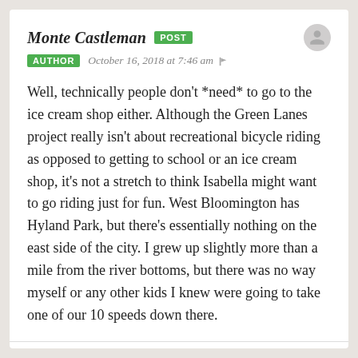Monte Castleman  POST
AUTHOR  October 16, 2018 at 7:46 am
Well, technically people don't *need* to go to the ice cream shop either. Although the Green Lanes project really isn't about recreational bicycle riding as opposed to getting to school or an ice cream shop, it's not a stretch to think Isabella might want to go riding just for fun. West Bloomington has Hyland Park, but there's essentially nothing on the east side of the city. I grew up slightly more than a mile from the river bottoms, but there was no way myself or any other kids I knew were going to take one of our 10 speeds down there.